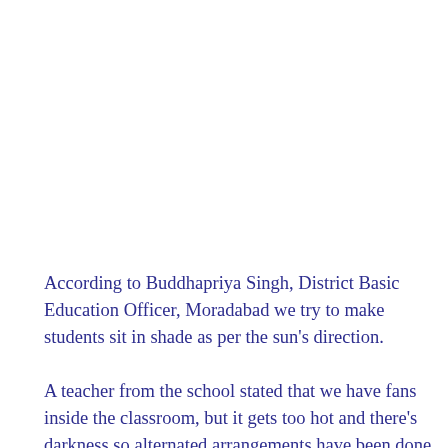According to Buddhapriya Singh, District Basic Education Officer, Moradabad we try to make students sit in shade as per the sun's direction.
A teacher from the school stated that we have fans inside the classroom, but it gets too hot and there's darkness so alternated arrangements have been done for the stude